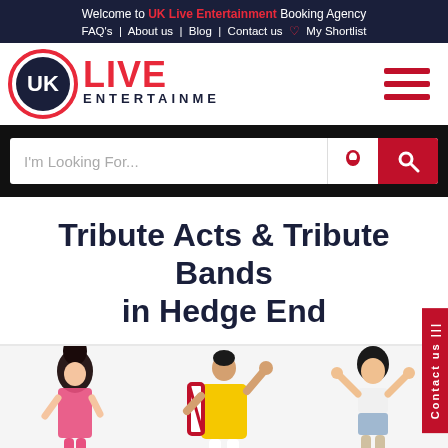Welcome to UK Live Entertainment Booking Agency
FAQ's | About us | Blog | Contact us ♡ My Shortlist
[Figure (logo): UK Live Entertainment logo — circular badge with UK initials and red dotted LIVE text]
Tribute Acts & Tribute Bands in Hedge End
[Figure (photo): Three tribute act performers: Amy Winehouse lookalike in pink, Freddie Mercury lookalike in yellow jacket with Union Jack cape, female pop performer in white top and denim shorts]
Contact us